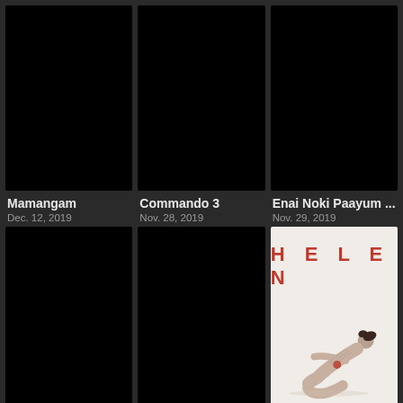[Figure (other): Black movie poster placeholder for Mamangam]
Mamangam
Dec. 12, 2019
[Figure (other): Black movie poster placeholder for Commando 3]
Commando 3
Nov. 28, 2019
[Figure (other): Black movie poster placeholder for Enai Noki Paayum ...]
Enai Noki Paayum ...
Nov. 29, 2019
[Figure (other): Black movie poster placeholder (unnamed)]
[Figure (other): Black movie poster placeholder (unnamed)]
[Figure (illustration): Helen movie poster: white background with red text HELEN and a person lying curled on the ground]